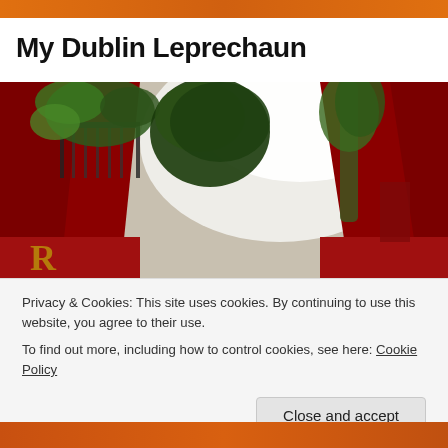My Dublin Leprechaun
[Figure (photo): Street-level view of a Dublin pub alley with red-painted walls on both sides, iron balcony railings draped with hanging plants and ivy, overexposed sky visible above between the buildings.]
Privacy & Cookies: This site uses cookies. By continuing to use this website, you agree to their use.
To find out more, including how to control cookies, see here: Cookie Policy
Close and accept